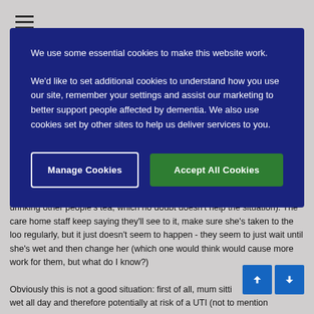[Figure (screenshot): Hamburger menu icon (three horizontal lines) in top left corner of webpage]
the loo on a regular basis (she has also developed a habit of going round drinking other people's tea, which no doubt doesn't help the situation). The care home staff keep saying they'll see to it, make sure she's taken to the loo regularly, but it just doesn't seem to happen - they seem to just wait until she's wet and then change her (which one would think would cause more work for them, but what do I know?)
[Figure (screenshot): Cookie consent overlay banner with dark navy/indigo background. Contains two text paragraphs about cookie usage and two buttons: 'Manage Cookies' (outlined) and 'Accept All Cookies' (green filled).]
We use some essential cookies to make this website work.
We'd like to set additional cookies to understand how you use our site, remember your settings and assist our marketing to better support people affected by dementia. We also use cookies set by other sites to help us deliver services to you.
Obviously this is not a good situation: first of all, mum sitting around wet all day and therefore potentially at risk of a UTI (not to mention